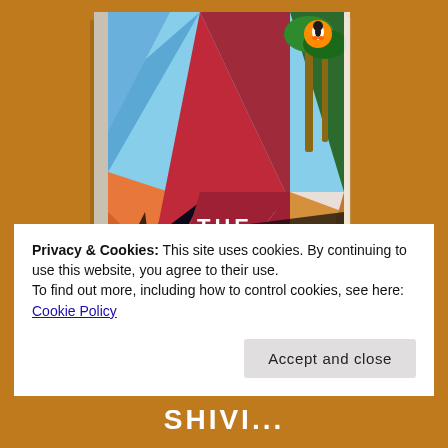[Figure (photo): A book cover for 'The Shooting' (Penguin Books) displayed at an angle on an orange-brown background. The cover features geometric triangle shapes with photographic images including beach/ocean scenes, palm trees, desert rock formations, and night sky. Title text 'THE SHOOTING' appears prominently on the lower portion of the cover in white and light text.]
Privacy & Cookies: This site uses cookies. By continuing to use this website, you agree to their use.
To find out more, including how to control cookies, see here:
Cookie Policy
Accept and close